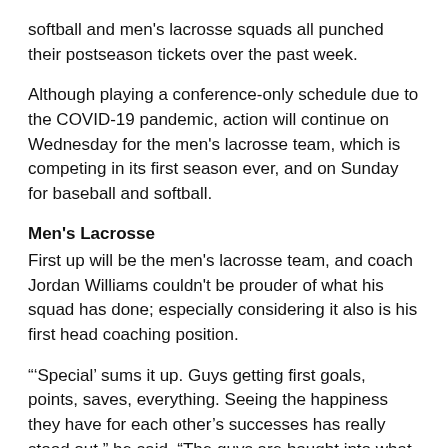softball and men's lacrosse squads all punched their postseason tickets over the past week.
Although playing a conference-only schedule due to the COVID-19 pandemic, action will continue on Wednesday for the men's lacrosse team, which is competing in its first season ever, and on Sunday for baseball and softball.
Men's Lacrosse
First up will be the men's lacrosse team, and coach Jordan Williams couldn't be prouder of what his squad has done; especially considering it also is his first head coaching position.
“‘Special’ sums it up. Guys getting first goals, points, saves, everything. Seeing the happiness they have for each other’s successes has really stood out,” he said. “The guys are bought into what we are building, and you can feel that every time we are together.”